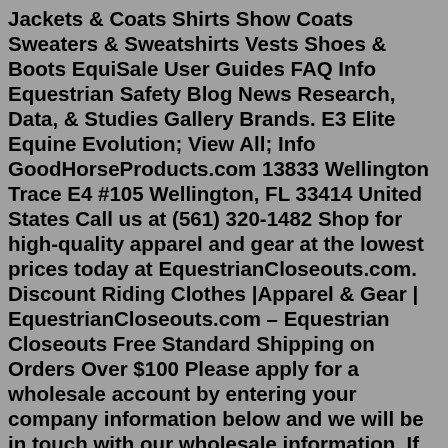Jackets & Coats Shirts Show Coats Sweaters & Sweatshirts Vests Shoes & Boots EquiSale User Guides FAQ Info Equestrian Safety Blog News Research, Data, & Studies Gallery Brands. E3 Elite Equine Evolution; View All; Info GoodHorseProducts.com 13833 Wellington Trace E4 #105 Wellington, FL 33414 United States Call us at (561) 320-1482 Shop for high-quality apparel and gear at the lowest prices today at EquestrianCloseouts.com. Discount Riding Clothes |Apparel & Gear | EquestrianCloseouts.com – Equestrian Closeouts Free Standard Shipping on Orders Over $100 Please apply for a wholesale account by entering your company information below and we will be in touch with our wholesale information. If you have any Kerrits wholesale questions, please email mary@kerrits.com Authorized Retailer Application Company Name (required) Value is required DBA Authorized Buyer (s) Website Address Buyer's Email (required) ABOUT EQUTECH. Since 1992, we have been